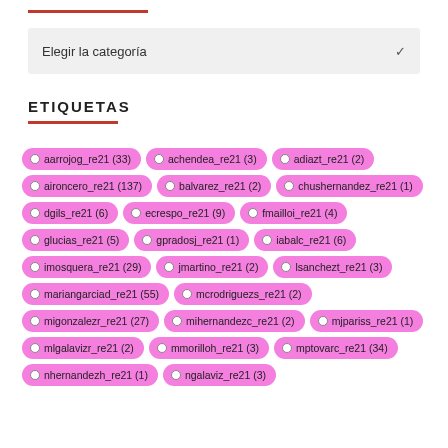Elegir la categoría
ETIQUETAS
aarrojog_re21 (33)
achendea_re21 (3)
adiazt_re21 (2)
aironcero_re21 (137)
balvarez_re21 (2)
chushernandez_re21 (1)
dgils_re21 (6)
ecrespo_re21 (9)
fmailloi_re21 (4)
glucias_re21 (5)
gpradosj_re21 (1)
iabalc_re21 (6)
imosquera_re21 (29)
jmartino_re21 (2)
lsanchezt_re21 (3)
mariangarciad_re21 (55)
mcrodriguezs_re21 (2)
migonzalezr_re21 (27)
mihernandezc_re21 (2)
mjpariss_re21 (1)
mlgalavizr_re21 (2)
mmorilloh_re21 (3)
mptovarc_re21 (34)
nhernandezh_re21 (1)
ngalaviz_re21 (3)